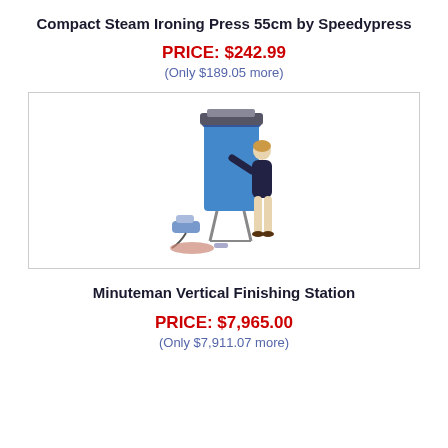Compact Steam Ironing Press 55cm by Speedypress
PRICE: $242.99
(Only $189.05 more)
[Figure (photo): A person using a large blue vertical steam ironing press machine with accessories visible on the floor]
Minuteman Vertical Finishing Station
PRICE: $7,965.00
(Only $7,911.07 more)